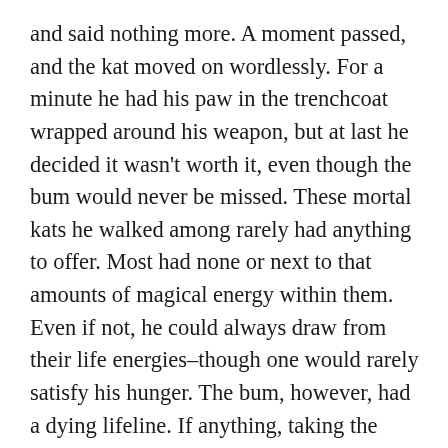and said nothing more. A moment passed, and the kat moved on wordlessly. For a minute he had his paw in the trenchcoat wrapped around his weapon, but at last he decided it wasn't worth it, even though the bum would never be missed. These mortal kats he walked among rarely had anything to offer. Most had none or next to that amounts of magical energy within them. Even if not, he could always draw from their life energies–though one would rarely satisfy his hunger. The bum, however, had a dying lifeline. If anything, taking the bum's energy would only make him hungry for more. Killing never bothered him; after all, he had to live on and gather energy. There was a rumor Sauraman had his powers back, and the last thing he wanted was that old sorcerer to start bossing him around